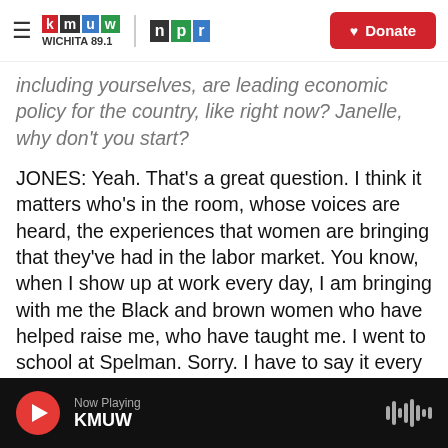KMUW Wichita 89.1 | NPR | Donate
including yourselves, are leading economic policy for the country, like right now? Janelle, why don't you start?
JONES: Yeah. That's a great question. I think it matters who's in the room, whose voices are heard, the experiences that women are bringing that they've had in the labor market. You know, when I show up at work every day, I am bringing with me the Black and brown women who have helped raise me, who have taught me. I went to school at Spelman. Sorry. I have to say it every time.
CHANG: (Laughter)
Now Playing KMUW